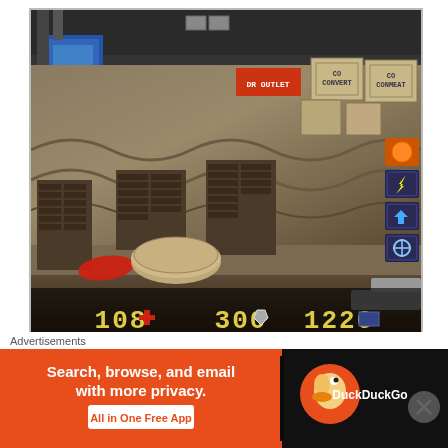[Figure (screenshot): Quake/FPS game screenshot showing a processing plant level interior with brown stone walls, crates/boxes, a round platform, a red pickup item on the floor, and a HUD showing health (108), armor (300), and ammo (1226) values. Right-side icons show power-ups. Top-right shows crate labels. Blue element visible top-left.]
Aces High is set in a processing plant with a large open flag room for each team and an indoor/outdoor crossroads area (once again accessible only via teleporters). If you check closely
Advertisements
[Figure (screenshot): DuckDuckGo advertisement banner. Orange/red background on left with white text: 'Search, browse, and email with more privacy.' and white button 'All in One Free App'. Black background on right with DuckDuckGo logo (duck icon in orange circle) and 'DuckDuckGo' text in white.]